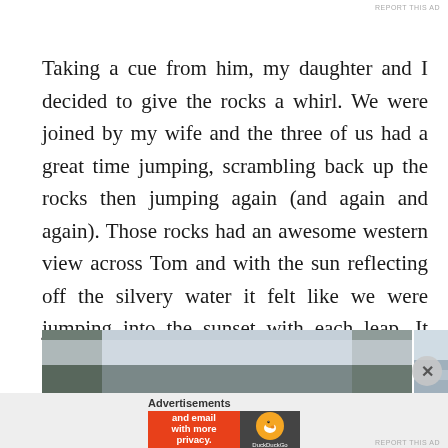REPORT THIS AD
Taking a cue from him, my daughter and I decided to give the rocks a whirl. We were joined by my wife and the three of us had a great time jumping, scrambling back up the rocks then jumping again (and again and again). Those rocks had an awesome western view across Tom and with the sun reflecting off the silvery water it felt like we were jumping into the sunset with each leap. It wasn't terrible.
[Figure (photo): A horizontal strip of three outdoor photos showing trees and sky, a lake with calm water, and more sky/trees.]
Advertisements
[Figure (screenshot): DuckDuckGo advertisement banner: orange left panel reading 'Search, browse, and email with more privacy. All in One Free App' and dark right panel with DuckDuckGo logo and duck icon.]
REPORT THIS AD